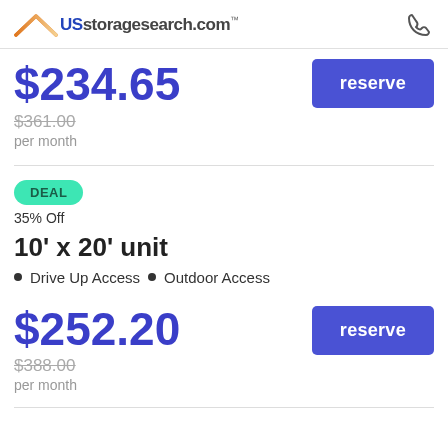USstoragesearch.com
$234.65
$361.00 per month
reserve
DEAL
35% Off
10' x 20' unit
Drive Up Access  •  Outdoor Access
$252.20
$388.00 per month
reserve